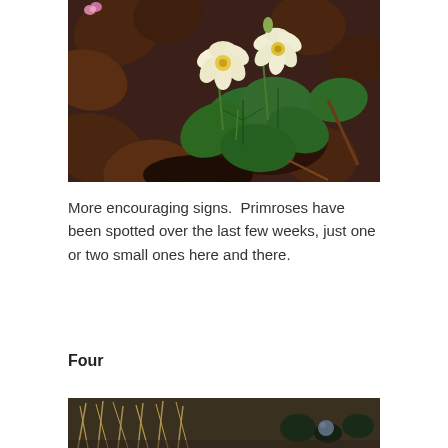[Figure (photo): Close-up photograph of primrose flowers with pale yellow-white petals and yellow centres, growing among dark brown fallen leaves and dark green textured leaves on a forest floor.]
More encouraging signs.  Primroses have been spotted over the last few weeks, just one or two small ones here and there.
Four
[Figure (photo): Partial photograph at the bottom of the page showing dry grass and vegetation, partially cut off.]